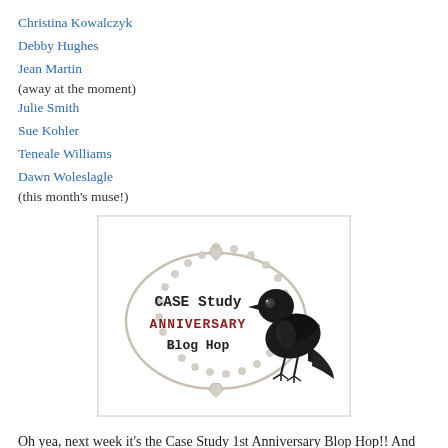Christina Kowalczyk
Debby Hughes
Jean Martin (away at the moment)
Julie Smith
Sue Kohler
Teneale Williams
Dawn Woleslagle (this month's muse!)
[Figure (illustration): CASE Study Anniversary Blog Hop logo with decorative oval frame and a black crow/raven illustration]
Oh yea, next week it's the Case Study 1st Anniversary Blop Hop!! And as Chupa said herself: